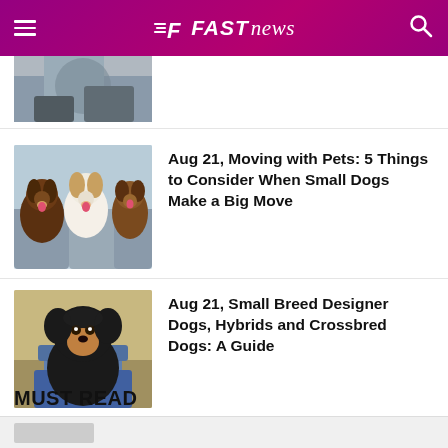FAST news
[Figure (photo): Partial view of a photo (cut off at top) showing a gloved hand, only bottom portion visible]
Aug 21, Moving with Pets: 5 Things to Consider When Small Dogs Make a Big Move
[Figure (photo): Three small dogs (Papillons) sitting in the back seat of a car, looking at the camera]
Aug 21, Small Breed Designer Dogs, Hybrids and Crossbred Dogs: A Guide
[Figure (photo): Small black and tan puppy (possibly a Yorkie mix) sitting in a small chair outdoors]
MUST READ